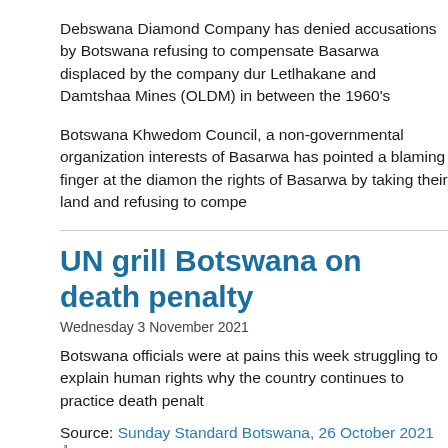Debswana Diamond Company has denied accusations by Botswana refusing to compensate Basarwa displaced by the company during Letlhakane and Damtshaa Mines (OLDM) in between the 1960's.
Botswana Khwedom Council, a non-governmental organization interests of Basarwa has pointed a blaming finger at the diamond the rights of Basarwa by taking their land and refusing to compensate.
UN grill Botswana on death penalty
Wednesday 3 November 2021
Botswana officials were at pains this week struggling to explain human rights why the country continues to practice death penal...
Source: Sunday Standard Botswana, 26 October 2021.
Auction of Botswana diamond